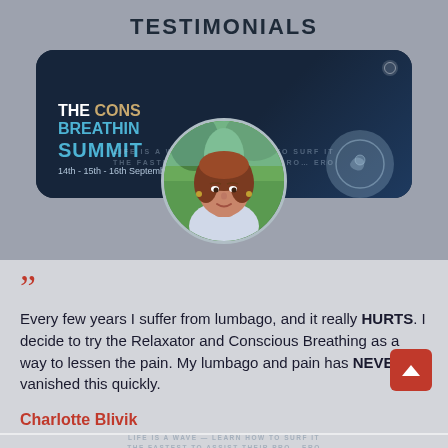TESTIMONIALS
[Figure (photo): A dark navy rounded banner card showing 'THE CONSCIOUS BREATHING SUMMIT 14th - 15th - 16th September 2022' with a circular profile photo of a woman (Charlotte Blivik) overlapping the bottom of the banner, and a semi-transparent logo on the right side.]
Every few years I suffer from lumbago, and it really HURTS. I decide to try the Relaxator and Conscious Breathing as a way to lessen the pain. My lumbago and pain has NEVER vanished this quickly.
Charlotte Blivik